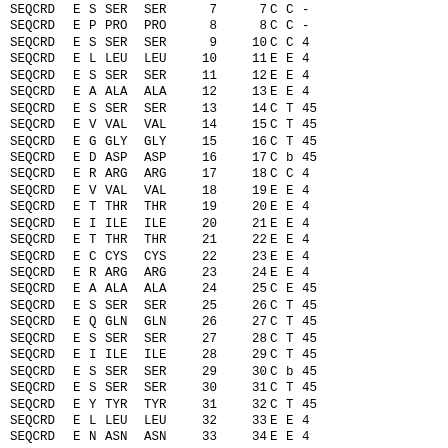| SEQCRD | E | S | SER | SER | 7 | 7 | C | C | - |
| SEQCRD | E | P | PRO | PRO | 8 | 8 | C | C | - |
| SEQCRD | E | S | SER | SER | 9 | 10 | C | C | 4 |
| SEQCRD | E | L | LEU | LEU | 10 | 11 | E | E | 4 |
| SEQCRD | E | S | SER | SER | 11 | 12 | E | E | 4 |
| SEQCRD | E | A | ALA | ALA | 12 | 13 | E | E | 4 |
| SEQCRD | E | S | SER | SER | 13 | 14 | C | T | 45 |
| SEQCRD | E | V | VAL | VAL | 14 | 15 | C | T | 45 |
| SEQCRD | E | G | GLY | GLY | 15 | 16 | C | T | 45 |
| SEQCRD | E | D | ASP | ASP | 16 | 17 | C | b | 45 |
| SEQCRD | E | R | ARG | ARG | 17 | 18 | C | C | 4 |
| SEQCRD | E | V | VAL | VAL | 18 | 19 | E | E | 4 |
| SEQCRD | E | T | THR | THR | 19 | 20 | E | E | 4 |
| SEQCRD | E | I | ILE | ILE | 20 | 21 | E | E | 4 |
| SEQCRD | E | T | THR | THR | 21 | 22 | E | E | 4 |
| SEQCRD | E | C | CYS | CYS | 22 | 23 | E | E | 4 |
| SEQCRD | E | R | ARG | ARG | 23 | 24 | E | E | 4 |
| SEQCRD | E | A | ALA | ALA | 24 | 25 | C | E | 45 |
| SEQCRD | E | S | SER | SER | 25 | 26 | C | T | 45 |
| SEQCRD | E | Q | GLN | GLN | 26 | 27 | C | T | 45 |
| SEQCRD | E | S | SER | SER | 27 | 28 | C | T | 45 |
| SEQCRD | E | I | ILE | ILE | 28 | 29 | C | T | 45 |
| SEQCRD | E | S | SER | SER | 29 | 30 | C | b | 45 |
| SEQCRD | E | S | SER | SER | 30 | 31 | C | T | 45 |
| SEQCRD | E | Y | TYR | TYR | 31 | 32 | C | T | 45 |
| SEQCRD | E | L | LEU | LEU | 32 | 33 | E | E | 4 |
| SEQCRD | E | N | ASN | ASN | 33 | 34 | E | E | 4 |
| SEQCRD | E | W | TRP | TRP | 34 | 35 | E | E | 4 |
| SEQCRD | E | Y | TYR | TYR | 35 | 36 | E | E | 4 |
| SEQCRD | E | Q | GLN | GLN | 36 | 37 | E | E | 4 |
| SEQCRD | E | S | GLN | GLN | 37 | 38 | E | E | 4 |